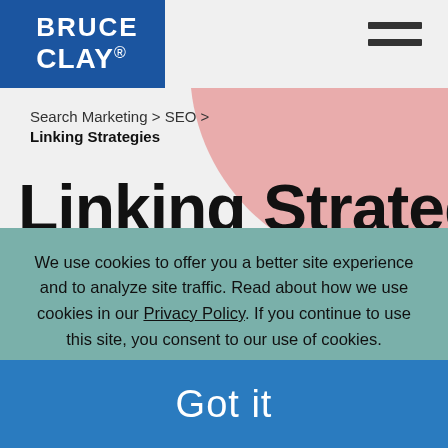BRUCE CLAY.
Search Marketing > SEO >
Linking Strategies
Linking Strategies
We use cookies to offer you a better site experience and to analyze site traffic. Read about how we use cookies in our Privacy Policy. If you continue to use this site, you consent to our use of cookies.
Got it